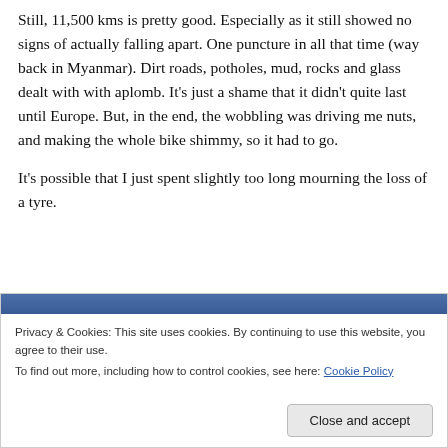Still, 11,500 kms is pretty good.  Especially as it still showed no signs of actually falling apart.  One puncture in all that time (way back in Myanmar).  Dirt roads, potholes, mud, rocks and glass dealt with with aplomb.  It's just a shame that it didn't quite last until Europe.  But, in the end, the wobbling was driving me nuts, and making the whole bike shimmy, so it had to go.
It's possible that I just spent slightly too long mourning the loss of a tyre.
[Figure (screenshot): Cookie consent banner with blue header bar, privacy message with link to Cookie Policy, and a 'Close and accept' button.]